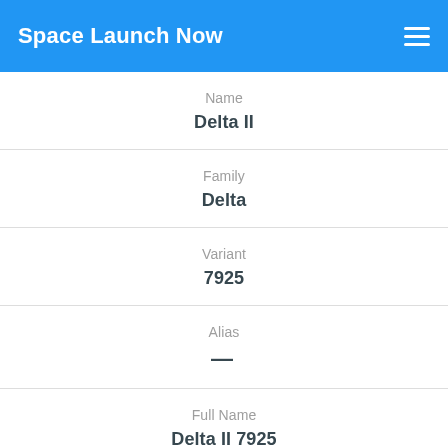Space Launch Now
Name
Delta II
Family
Delta
Variant
7925
Alias
—
Full Name
Delta II 7925